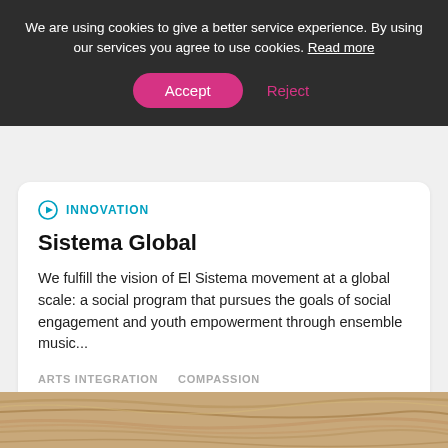We are using cookies to give a better service experience. By using our services you agree to use cookies. Read more
Accept   Reject
INNOVATION
Sistema Global
We fulfill the vision of El Sistema movement at a global scale: a social program that pursues the goals of social engagement and youth empowerment through ensemble music...
ARTS INTEGRATION   COMPASSION   EDUCATIONAL EQUITY   MUSIC
View
[Figure (photo): Wood grain texture image strip at the bottom of the page]